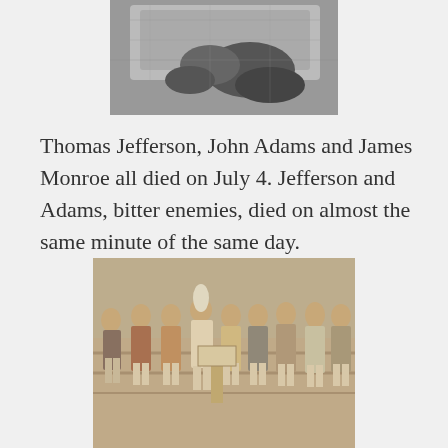[Figure (photo): Black and white close-up photo of hands, partially cropped at top of page]
Thomas Jefferson, John Adams and James Monroe all died on July 4. Jefferson and Adams, bitter enemies, died on almost the same minute of the same day.
[Figure (photo): Sepia-toned vintage photo of a group of women in costume or early 20th century attire, standing together outdoors]